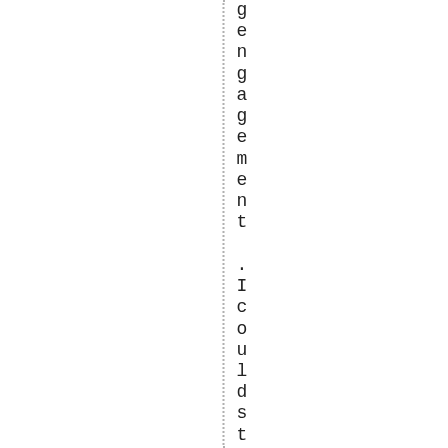gengagement .I could still hear .ev